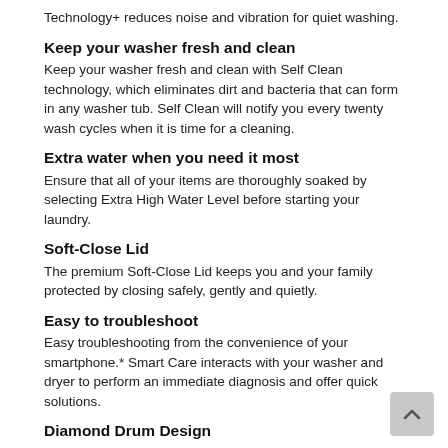Technology+ reduces noise and vibration for quiet washing.
Keep your washer fresh and clean
Keep your washer fresh and clean with Self Clean technology, which eliminates dirt and bacteria that can form in any washer tub. Self Clean will notify you every twenty wash cycles when it is time for a cleaning.
Extra water when you need it most
Ensure that all of your items are thoroughly soaked by selecting Extra High Water Level before starting your laundry.
Soft-Close Lid
The premium Soft-Close Lid keeps you and your family protected by closing safely, gently and quietly.
Easy to troubleshoot
Easy troubleshooting from the convenience of your smartphone.* Smart Care interacts with your washer and dryer to perform an immediate diagnosis and offer quick solutions.
Diamond Drum Design